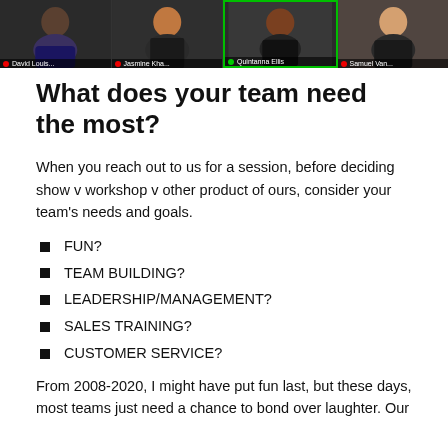[Figure (screenshot): Video conference strip showing four participants: David Louis, Jasmine Kha., Quintanna Ellis (active/highlighted with green border), and Samuel Van... Each participant has a small profile photo and name label at the bottom.]
What does your team need the most?
When you reach out to us for a session, before deciding show v workshop v other product of ours, consider your team's needs and goals.
FUN?
TEAM BUILDING?
LEADERSHIP/MANAGEMENT?
SALES TRAINING?
CUSTOMER SERVICE?
From 2008-2020, I might have put fun last, but these days, most teams just need a chance to bond over laughter. Our